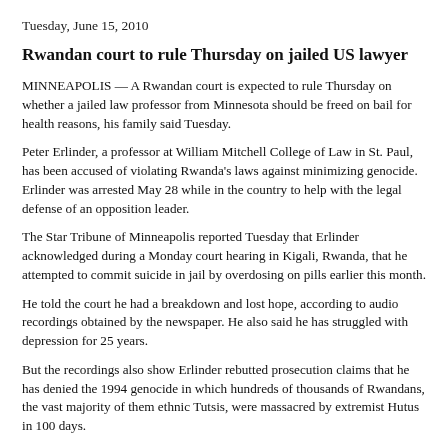Tuesday, June 15, 2010
Rwandan court to rule Thursday on jailed US lawyer
MINNEAPOLIS — A Rwandan court is expected to rule Thursday on whether a jailed law professor from Minnesota should be freed on bail for health reasons, his family said Tuesday.
Peter Erlinder, a professor at William Mitchell College of Law in St. Paul, has been accused of violating Rwanda's laws against minimizing genocide. Erlinder was arrested May 28 while in the country to help with the legal defense of an opposition leader.
The Star Tribune of Minneapolis reported Tuesday that Erlinder acknowledged during a Monday court hearing in Kigali, Rwanda, that he attempted to commit suicide in jail by overdosing on pills earlier this month.
He told the court he had a breakdown and lost hope, according to audio recordings obtained by the newspaper. He also said he has struggled with depression for 25 years.
But the recordings also show Erlinder rebutted prosecution claims that he has denied the 1994 genocide in which hundreds of thousands of Rwandans, the vast majority of them ethnic Tutsis, were massacred by extremist Hutus in 100 days.